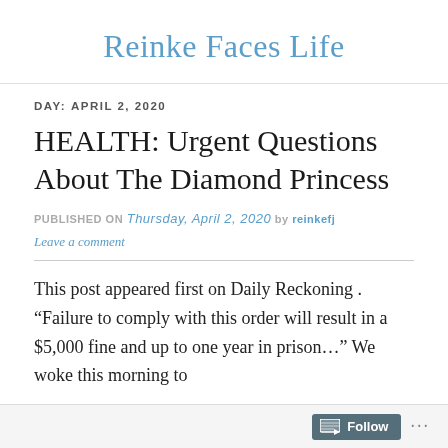Reinke Faces Life
DAY: APRIL 2, 2020
HEALTH: Urgent Questions About The Diamond Princess
PUBLISHED ON Thursday, April 2, 2020 by reinkefj
Leave a comment
This post appeared first on Daily Reckoning . “Failure to comply with this order will result in a $5,000 fine and up to one year in prison…” We woke this morning to
Follow